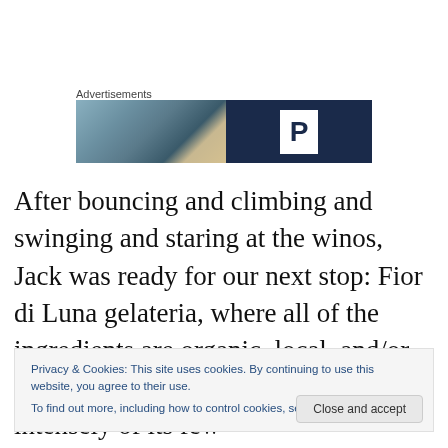Advertisements
[Figure (photo): Advertisement banner with a blurry outdoor photo on the left and a dark navy blue panel on the right featuring a white 'P' letter icon (parking logo).]
After bouncing and climbing and swinging and staring at the winos, Jack was ready for our next stop: Fior di Luna gelateria, where all of the ingredients are organic, local, and/or fair trade, and the gelato tastes intensely of its few
Privacy & Cookies: This site uses cookies. By continuing to use this website, you agree to their use.
To find out more, including how to control cookies, see here: Cookie Policy
Close and accept